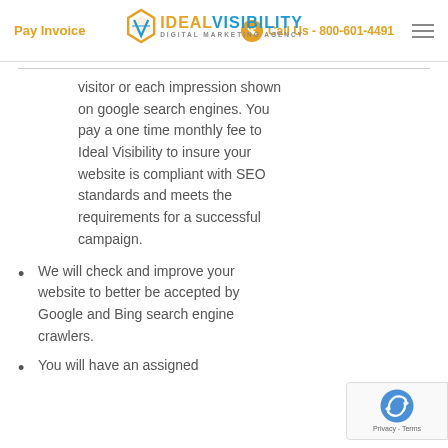Pay Invoice | IDEAL VISIBILITY DIGITAL MARKETING AGENCY | Call Us - 800-601-4491
visitor or each impression shown on google search engines. You pay a one time monthly fee to Ideal Visibility to insure your website is compliant with SEO standards and meets the requirements for a successful campaign.
We will check and improve your website to better be accepted by Google and Bing search engine crawlers.
You will have an assigned